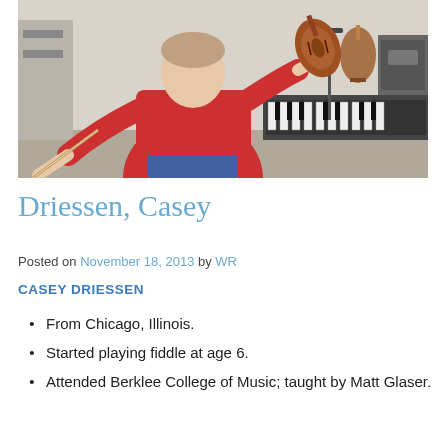[Figure (photo): A man in a red t-shirt playing violin/fiddle in a room with musical instruments including keyboards and another violin visible in the background.]
Driessen, Casey
Posted on November 18, 2013 by WR
CASEY DRIESSEN
From Chicago, Illinois.
Started playing fiddle at age 6.
Attended Berklee College of Music; taught by Matt Glaser.